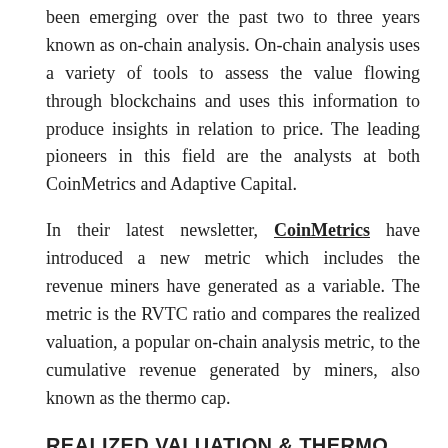been emerging over the past two to three years known as on-chain analysis. On-chain analysis uses a variety of tools to assess the value flowing through blockchains and uses this information to produce insights in relation to price. The leading pioneers in this field are the analysts at both CoinMetrics and Adaptive Capital.
In their latest newsletter, CoinMetrics have introduced a new metric which includes the revenue miners have generated as a variable. The metric is the RVTC ratio and compares the realized valuation, a popular on-chain analysis metric, to the cumulative revenue generated by miners, also known as the thermo cap.
REALIZED VALUATION & THERMO CAP
The realized valuation metric was introduced in